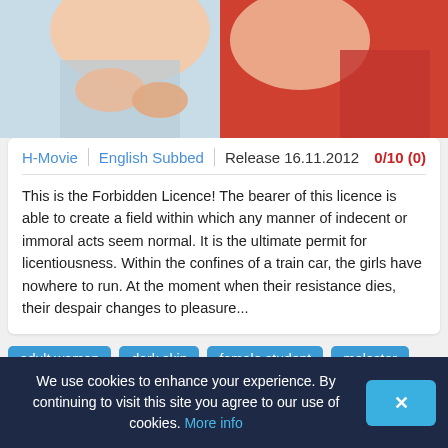[Figure (illustration): Anime-style illustration showing characters in close-up, partial view with skin tones, clothing fragments in blue and red colors.]
H-Movie | English Subbed | Release 16.11.2012 | 0/10 (0)
This is the Forbidden Licence! The bearer of this licence is able to create a field within which any manner of indecent or immoral acts seem normal. It is the ultimate permit for licentiousness. Within the confines of a train car, the girls have nowhere to run. At the moment when their resistance dies, their despair changes to pleasure...
adult woman
dark skin
female student
molester
oppai
Saishuu Chikan Densha Next 02
[121026][最終痴漢電車] 最終痴漢電車NEXT Molester.2最終痴漢電車NEXT
We use cookies to enhance your experience. By continuing to visit this site you agree to our use of cookies. More info